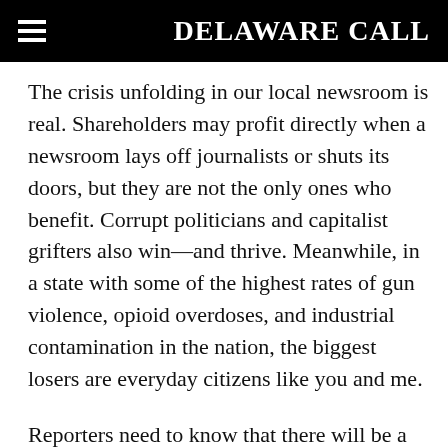DELAWARE CALL
The crisis unfolding in our local newsroom is real. Shareholders may profit directly when a newsroom lays off journalists or shuts its doors, but they are not the only ones who benefit. Corrupt politicians and capitalist grifters also win—and thrive. Meanwhile, in a state with some of the highest rates of gun violence, opioid overdoses, and industrial contamination in the nation, the biggest losers are everyday citizens like you and me.
Reporters need to know that there will be a job for them tomorrow. This is especially important when the subjects of their investigations are the people sitting on the boards